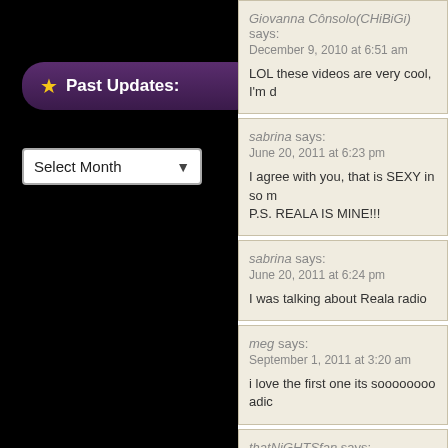★ Past Updates:
Select Month
Giovanna Cônsolo(CHiBiGi) says:
December 9, 2010 at 6:51 am

LOL these videos are very cool, I'm d…
sabrina says:
June 20, 2011 at 6:23 pm

I agree with you, that is SEXY in so m… P.S. REALA IS MINE!!!
sabrina says:
June 20, 2011 at 6:24 pm

I was talking about Reala radio
meg says:
September 1, 2011 at 3:20 am

i love the first one its soooooooo adic…
thatNiGHTSfan says: